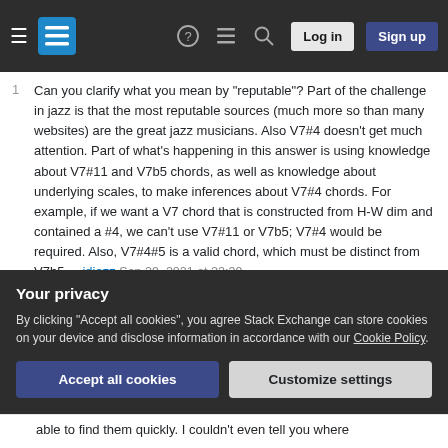Stack Exchange navigation bar with hamburger menu, logo, help, chat, search icons, Log in and Sign up buttons
Can you clarify what you mean by "reputable"? Part of the challenge in jazz is that the most reputable sources (much more so than many websites) are the great jazz musicians. Also V7#4 doesn't get much attention. Part of what's happening in this answer is using knowledge about V7#11 and V7b5 chords, as well as knowledge about underlying scales, to make inferences about V7#4 chords. For example, if we want a V7 chord that is constructed from H-W dim and contained a #4, we can't use V7#11 or V7b5; V7#4 would be required. Also, V7#4#5 is a valid chord, which must be distinct from V7b5. – jdjazz Sep 29, 2021 at 22:39
@BirdBiner, don't get me wrong, I think it's always fair...
Your privacy
By clicking "Accept all cookies", you agree Stack Exchange can store cookies on your device and disclose information in accordance with our Cookie Policy.
Accept all cookies | Customize settings
able to find them quickly. I couldn't even tell you where